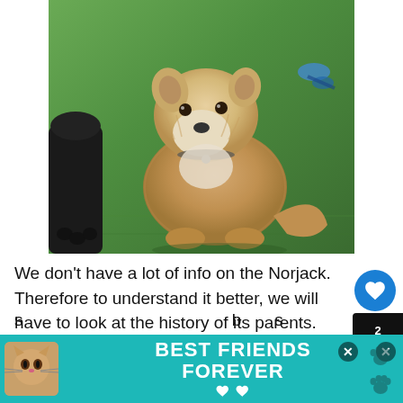[Figure (photo): A fluffy tan/cream terrier-mix dog sitting on green artificial grass, looking up slightly. A black dog's paw is visible on the left edge, and a blue toy is visible in the upper right background.]
We don't have a lot of info on the Norjack. Therefore to understand it better, we will have to look at the history of its parents. The Jack Russell Terrier is a direct result of one man's actions. That holy man was, Jack Russell. He wanted to create a
[Figure (infographic): Advertisement banner with teal background showing a cat photo on left, text 'BEST FRIENDS FOREVER' in white bold letters in center with heart icons, and close/X buttons on right. Also shows paw print icons at bottom right.]